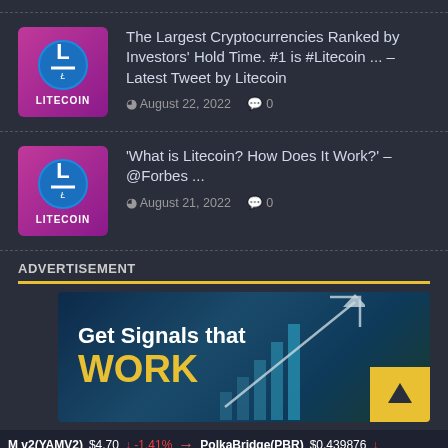[Figure (other): News article 1: Litecoin logo with article title and date]
The Largest Cryptocurrencies Ranked by Investors' Hold Time. #1 is #Litecoin ... – Latest Tweet by Litecoin
August 22, 2022  0
[Figure (other): News article 2: Litecoin logo with article title and date]
'What is Litecoin? How Does It Work?' – @Forbes ...
August 21, 2022  0
ADVERTISEMENT
[Figure (infographic): Advertisement banner: Get Signals that WORK with upward arrow chart graphic and gold box with up arrow]
M v2(YAMV2)  $4.70  -1.41%  PolkaBridge(PBR)  $0.439876